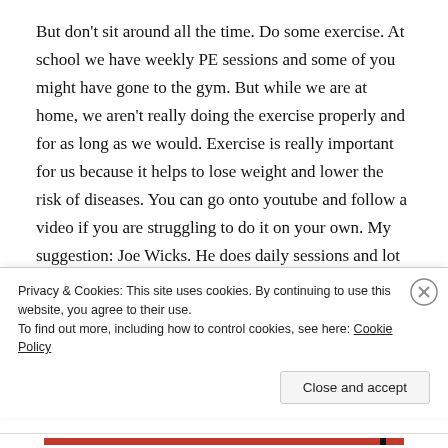But don't sit around all the time. Do some exercise. At school we have weekly PE sessions and some of you might have gone to the gym. But while we are at home, we aren't really doing the exercise properly and for as long as we would. Exercise is really important for us because it helps to lose weight and lower the risk of diseases. You can go onto youtube and follow a video if you are struggling to do it on your own. My suggestion: Joe Wicks. He does daily sessions and lot of people have been doing his workouts and are finding that it
Privacy & Cookies: This site uses cookies. By continuing to use this website, you agree to their use.
To find out more, including how to control cookies, see here: Cookie Policy
Close and accept